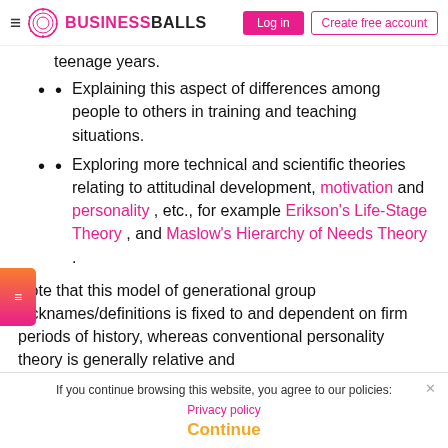BUSINESSBALLS | Log in | Create free account
teenage years.
Explaining this aspect of differences among people to others in training and teaching situations.
Exploring more technical and scientific theories relating to attitudinal development, motivation and personality, etc., for example Erikson's Life-Stage Theory, and Maslow's Hierarchy of Needs Theory.
Note that this model of generational group nicknames/definitions is fixed to and dependent on firm periods of history, whereas conventional personality theory is generally relative and
If you continue browsing this website, you agree to our policies: Privacy policy
Continue